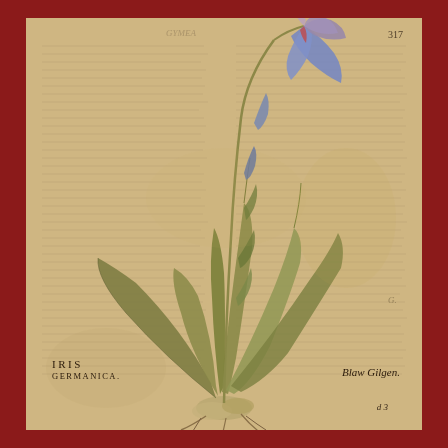[Figure (illustration): Hand-colored botanical illustration of Iris Germanica (German Iris / Blue Flag) from an early printed herbal. The plant is shown with long sword-shaped leaves fanning from a rhizome base, a tall central stem with buds, and one fully open iris flower at top right with purple-blue and reddish petals. The illustration is overlaid on a page of printed Latin text in two columns. Page number 317 appears at top right. Signature mark 'd 3' appears at bottom right.]
IRIS GERMANICA
Blaw Gilgen.
d 3